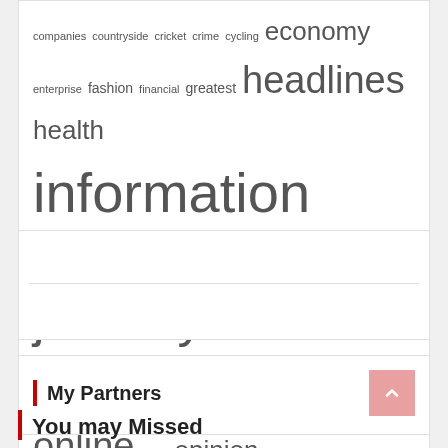[Figure (infographic): Word cloud with terms of varying sizes including: companies, countryside, cricket, crime, cycling, economy, enterprise, fashion, financial, greatest, headlines, health, information, insurance, international, journey, latest, luxury, music, newest, offers, online, opera, opinion, outcomes, politics, property, results, rugby, science, society, system, theatre, tours, travel, union, world]
My Partners
You may Missed